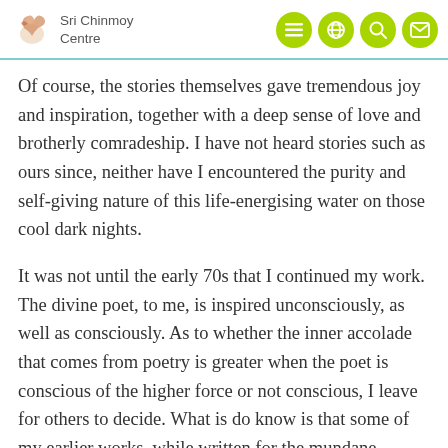Sri Chinmoy Centre
Of course, the stories themselves gave tremendous joy and inspiration, together with a deep sense of love and brotherly comradeship. I have not heard stories such as ours since, neither have I encountered the purity and self-giving nature of this life-energising water on those cool dark nights.
It was not until the early 70s that I continued my work. The divine poet, to me, is inspired unconsciously, as well as consciously. As to whether the inner accolade that comes from poetry is greater when the poet is conscious of the higher force or not conscious, I leave for others to decide. What is do know is that some of my earlier works, while written for the mundane, contained many lofty and sublime